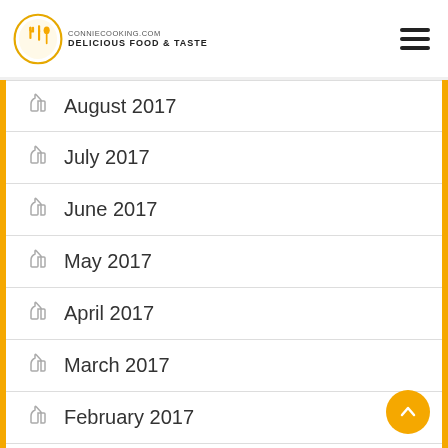CONNIECOOKING.COM DELICIOUS FOOD & TASTE
August 2017
July 2017
June 2017
May 2017
April 2017
March 2017
February 2017
January 2017